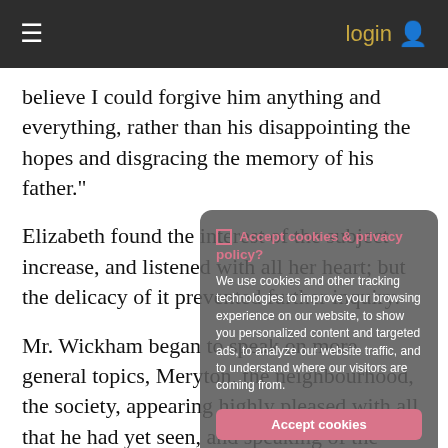≡  login 👤
believe I could forgive him anything and everything, rather than his disappointing the hopes and disgracing the memory of his father."
Elizabeth found the interest of the subject increase, and listened with all her heart; but the delicacy of it prevented further inquiry.
Mr. Wickham began to speak on more general topics, Meryton, the neighbourhood, the society, appearing highly pleased with all that he had yet seen, and speaking of the latter with gentle but very intelligible gallantry.
[Figure (screenshot): Cookie consent modal overlay with title 'Accept cookies & privacy policy?', body text about cookies and tracking technologies, and two buttons: 'Accept cookies' (pink) and 'Customize cookies' (grey).]
"It was the prospect of constant society, and good society," he added, "which was my chief inducement to enter the —— shire. I knew it to be a most respectable, agreeable corps,